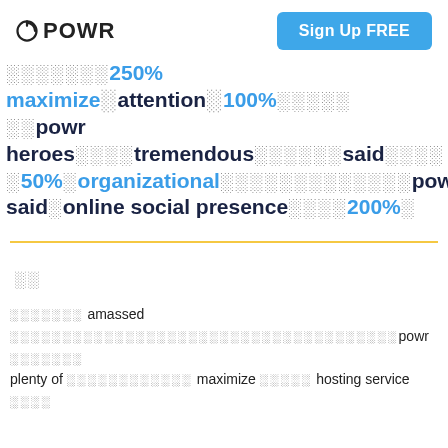POWR  Sign Up FREE
░░░░░░░250% maximize░attention░100%░░░░░░powr heroes░░░░tremendous░░░░░said░░░░░50%░organizational░░░░░░░░░░░░░powr░░said░online social presence░░░░200%░
░░
░░░░░░░amassed░░░░░░░░░░░░░░░░░░░░░░░░░░░░░░░░░powr░░░░░░░plenty of░░░░░░░░░░░░maximize░░░░hosting service░░░░